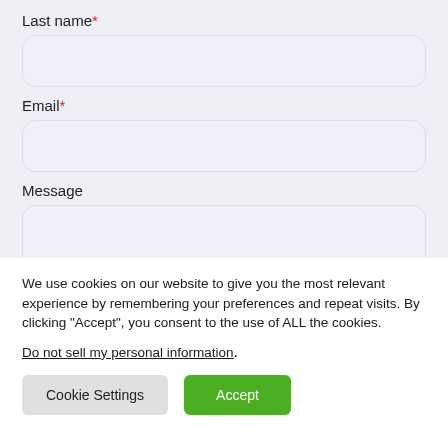Last name*
Email*
Message
We use cookies on our website to give you the most relevant experience by remembering your preferences and repeat visits. By clicking “Accept”, you consent to the use of ALL the cookies.
Do not sell my personal information.
Cookie Settings
Accept